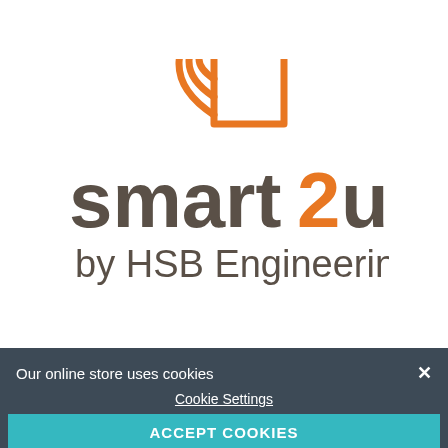[Figure (logo): smart2u by HSB Engineering logo: orange house/wifi icon above text 'smart2u' in dark grey with orange '2', and 'by HSB Engineering' in dark grey below]
Our online store uses cookies
Cookie Settings
ACCEPT COOKIES